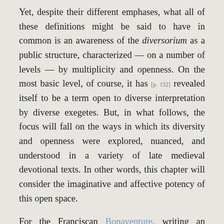Yet, despite their different emphases, what all of these definitions might be said to have in common is an awareness of the diversorium as a public structure, characterized — on a number of levels — by multiplicity and openness. On the most basic level, of course, it has [p. 152] revealed itself to be a term open to diverse interpretation by diverse exegetes. But, in what follows, the focus will fall on the ways in which its diversity and openness were explored, nuanced, and understood in a variety of late medieval devotional texts. In other words, this chapter will consider the imaginative and affective potency of this open space.
For the Franciscan Bonaventure, writing an influential commentary on the Gospel of Luke in the thirteenth century, it is the openness and public